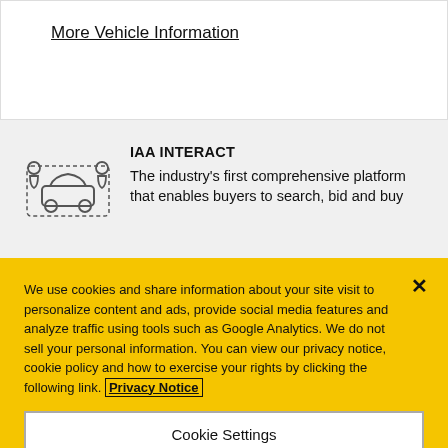More Vehicle Information
[Figure (illustration): Icon of two people on either side of a car with dotted border lines, representing vehicle interaction]
IAA INTERACT
The industry's first comprehensive platform that enables buyers to search, bid and buy
We use cookies and share information about your site visit to personalize content and ads, provide social media features and analyze traffic using tools such as Google Analytics. We do not sell your personal information. You can view our privacy notice, cookie policy and how to exercise your rights by clicking the following link. Privacy Notice
Cookie Settings
Reject All
Accept Cookies